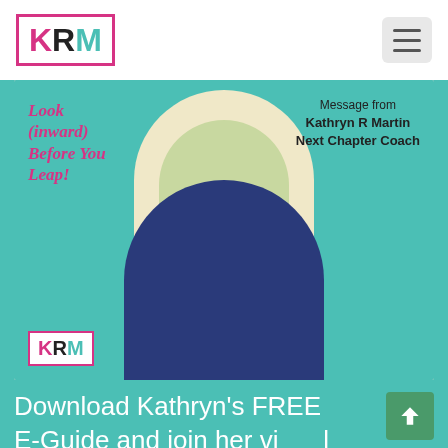[Figure (logo): KRM logo with pink K, black R, teal M inside a pink border box]
[Figure (photo): Book cover: 'Look (inward) Before You Leap!' by Kathryn R Martin, Next Chapter Coach. Woman in blue top with arms spread wide standing in front of an arch. KRM logo at bottom left.]
Download Kathryn's FREE E-Guide and join her virtual community for insights, inspiration and impact!